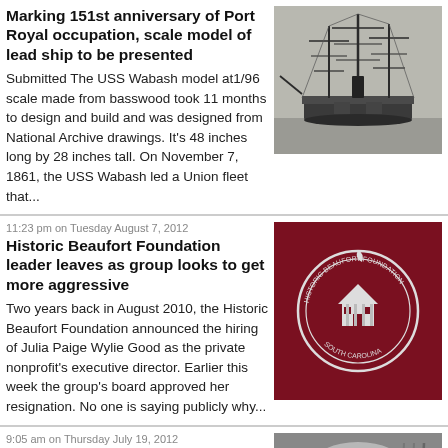Marking 151st anniversary of Port Royal occupation, scale model of lead ship to be presented
Submitted The USS Wabash model at1/96 scale made from basswood took 11 months to design and build and was designed from National Archive drawings. It's 48 inches long by 28 inches tall. On November 7, 1861, the USS Wabash led a Union fleet that...
[Figure (photo): Scale model of a tall ship (USS Wabash)]
11:23 pm on Tuesday August 7, 2012
Historic Beaufort Foundation leader leaves as group looks to get more aggressive
Two years back in August 2010, the Historic Beaufort Foundation announced the hiring of Julia Paige Wylie Good as the private nonprofit's executive director. Earlier this week the group's board approved her resignation. No one is saying publicly why...
[Figure (logo): Historic Beaufort Foundation seal/logo on dark red background]
9:05 am on Thursday July 19, 2012
Dine well and for good at the Supper Society